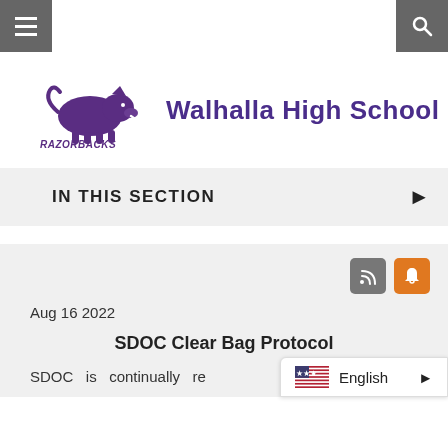[Figure (logo): Walhalla High School Razorbacks logo with purple boar mascot and stylized text]
Walhalla High School
IN THIS SECTION
Aug 16 2022
SDOC Clear Bag Protocol
SDOC is continually re